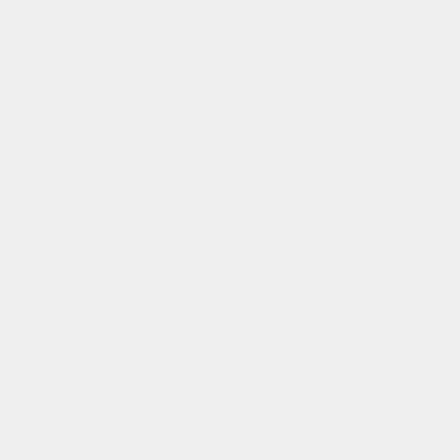# CONFIG_OVERLAY_FS_REDIRECT_DIR
CONFIG_OVERLAY_FS_REDIRECT_ALWAY
# CONFIG_OVERLAY_FS_INDEX is not
# CONFIG_OVERLAY_FS_XINO_AUTO is
# CONFIG_OVERLAY_FS_METACOPY is

#
# Caches
#
CONFIG_FSCACHE=m
CONFIG_FSCACHE_STATS=y
# CONFIG_FSCACHE_HISTOGRAM is no
# CONFIG_FSCACHE_DEBUG is not se
CONFIG_FSCACHE_OBJECT_LIST=y
CONFIG_CACHEFILES=m
# CONFIG_CACHEFILES_DEBUG is not
# CONFIG_CACHEFILES_HISTOGRAM is

#
# CD-ROM/DVD Filesystems
#
CONFIG_ISO9660_FS=m
CONFIG_JOLIET=y
CONFIG_ZISOFS=y
CONFIG_UDF_FS=m

#
# DOS/FAT/NT Filesystems
#
CONFIG_FAT_FS=m
CONFIG_MSDOS_FS=m
CONFIG_VFAT_FS=m